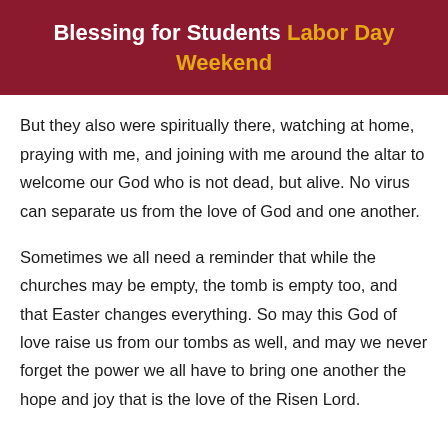Blessing for Students Labor Day Weekend
But they also were spiritually there, watching at home, praying with me, and joining with me around the altar to welcome our God who is not dead, but alive. No virus can separate us from the love of God and one another.
Sometimes we all need a reminder that while the churches may be empty, the tomb is empty too, and that Easter changes everything. So may this God of love raise us from our tombs as well, and may we never forget the power we all have to bring one another the hope and joy that is the love of the Risen Lord.